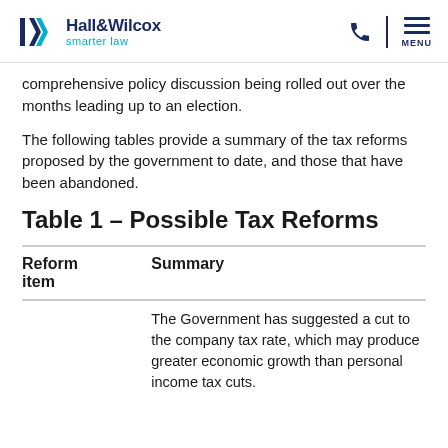Hall&Wilcox smarter law
comprehensive policy discussion being rolled out over the months leading up to an election.
The following tables provide a summary of the tax reforms proposed by the government to date, and those that have been abandoned.
Table 1 – Possible Tax Reforms
| Reform item | Summary |
| --- | --- |
|  | The Government has suggested a cut to the company tax rate, which may produce greater economic growth than personal income tax cuts. |